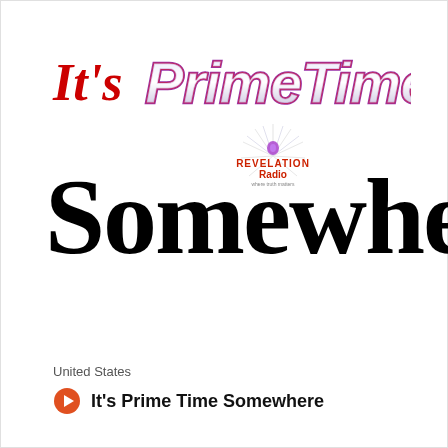[Figure (logo): It's Prime Time Somewhere logo with red italic 'It's' text, stylized 'PrimeTime' in purple/red outlined block letters, a Revelation Radio badge with starburst, and large black serif 'Somewhere' text below]
United States
It's Prime Time Somewhere